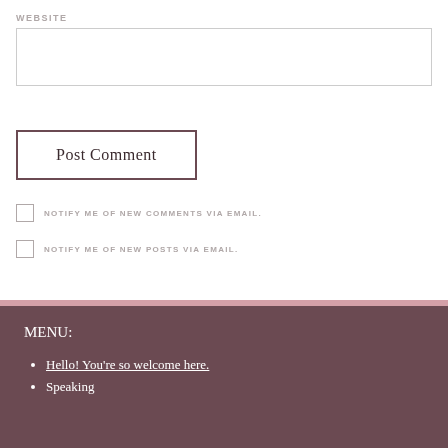WEBSITE
Post Comment
NOTIFY ME OF NEW COMMENTS VIA EMAIL.
NOTIFY ME OF NEW POSTS VIA EMAIL.
MENU:
Hello! You're so welcome here.
Speaking